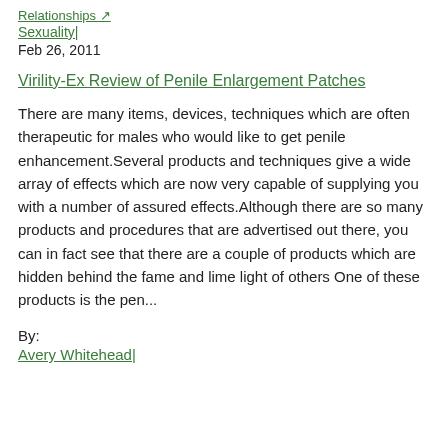Relationships > Sexuality | Feb 26, 2011
Virility-Ex Review of Penile Enlargement Patches
There are many items, devices, techniques which are often therapeutic for males who would like to get penile enhancement.Several products and techniques give a wide array of effects which are now very capable of supplying you with a number of assured effects.Although there are so many products and procedures that are advertised out there, you can in fact see that there are a couple of products which are hidden behind the fame and lime light of others One of these products is the pen...
By:
Avery Whitehead|